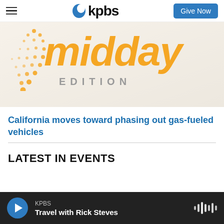KPBS — Give Now
[Figure (logo): KPBS Midday Edition logo with orange 'midday' text, 'EDITION' subtitle in gray, and decorative dot pattern graphic on white/cream background]
California moves toward phasing out gas-fueled vehicles
LATEST IN EVENTS
KPBS — Travel with Rick Steves